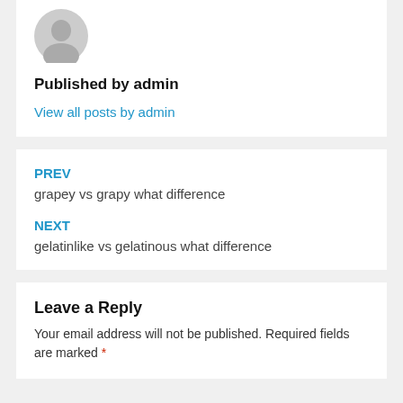[Figure (illustration): Gray placeholder avatar silhouette image]
Published by admin
View all posts by admin
PREV
grapey vs grapy what difference
NEXT
gelatinlike vs gelatinous what difference
Leave a Reply
Your email address will not be published. Required fields are marked *